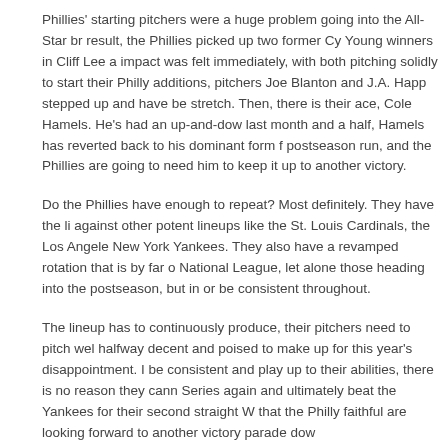Phillies' starting pitchers were a huge problem going into the All-Star br result, the Phillies picked up two former Cy Young winners in Cliff Lee a impact was felt immediately, with both pitching solidly to start their Philly additions, pitchers Joe Blanton and J.A. Happ stepped up and have be stretch. Then, there is their ace, Cole Hamels. He's had an up-and-dow last month and a half, Hamels has reverted back to his dominant form f postseason run, and the Phillies are going to need him to keep it up to another victory.
Do the Phillies have enough to repeat? Most definitely. They have the li against other potent lineups like the St. Louis Cardinals, the Los Angele New York Yankees. They also have a revamped rotation that is by far o National League, let alone those heading into the postseason, but in or be consistent throughout.
The lineup has to continuously produce, their pitchers need to pitch wel halfway decent and poised to make up for this year's disappointment. I be consistent and play up to their abilities, there is no reason they cann Series again and ultimately beat the Yankees for their second straight W that the Philly faithful are looking forward to another victory parade dow